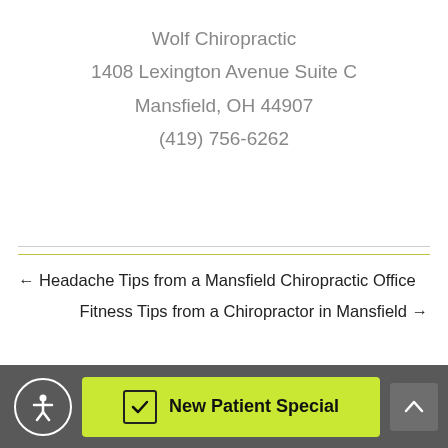Wolf Chiropractic
1408 Lexington Avenue Suite C
Mansfield, OH 44907
(419) 756-6262
← Headache Tips from a Mansfield Chiropractic Office
Fitness Tips from a Chiropractor in Mansfield →
New Patient Special